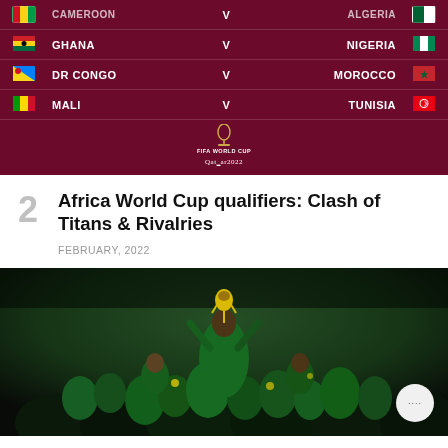[Figure (infographic): FIFA World Cup Qatar 2022 Africa qualifying matches bracket on dark red background showing: Ghana v Nigeria, DR Congo v Morocco, Mali v Tunisia, with FIFA World Cup Qatar 2022 logo]
Africa World Cup qualifiers: Clash of Titans & Rivalries
FEBRUARY, 2022
[Figure (photo): Football team (Senegal) celebrating with a gold trophy, players wearing green uniforms, crowded stadium at night]